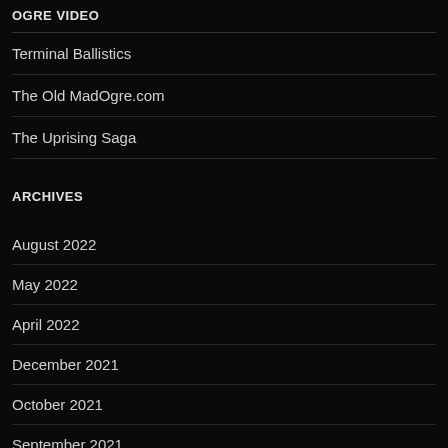OGRE VIDEO
Terminal Ballistics
The Old MadOgre.com
The Uprising Saga
ARCHIVES
August 2022
May 2022
April 2022
December 2021
October 2021
September 2021